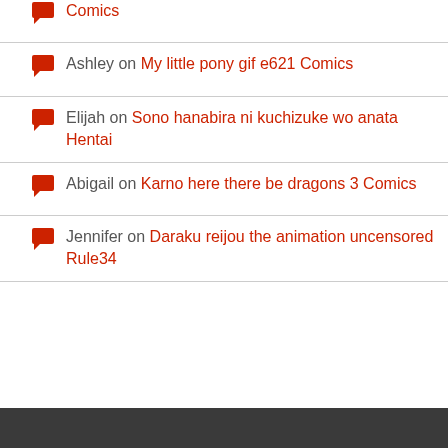Comics (link)
Ashley on My little pony gif e621 Comics
Elijah on Sono hanabira ni kuchizuke wo anata Hentai
Abigail on Karno here there be dragons 3 Comics
Jennifer on Daraku reijou the animation uncensored Rule34